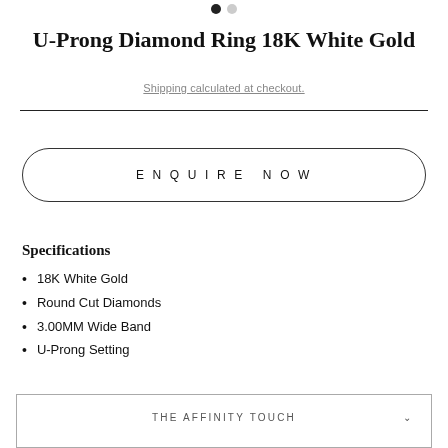[Figure (other): Two navigation dots: one filled black, one grey]
U-Prong Diamond Ring 18K White Gold
Shipping calculated at checkout.
ENQUIRE NOW
Specifications
18K White Gold
Round Cut Diamonds
3.00MM Wide Band
U-Prong Setting
THE AFFINITY TOUCH